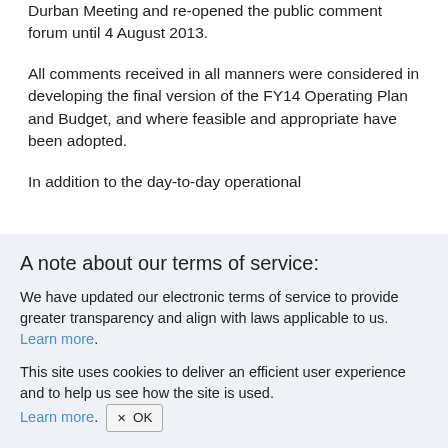Durban Meeting and re-opened the public comment forum until 4 August 2013.
All comments received in all manners were considered in developing the final version of the FY14 Operating Plan and Budget, and where feasible and appropriate have been adopted.
In addition to the day-to-day operational
A note about our terms of service:
We have updated our electronic terms of service to provide greater transparency and align with laws applicable to us. Learn more.
This site uses cookies to deliver an efficient user experience and to help us see how the site is used. Learn more. × OK